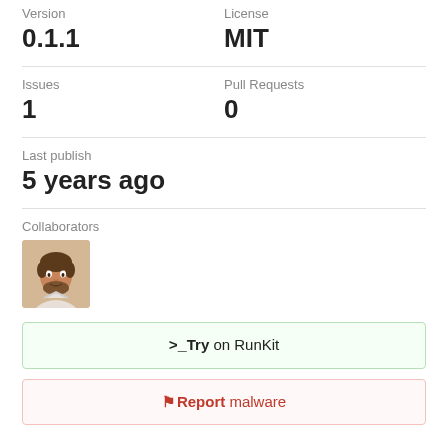Version
License
0.1.1
MIT
Issues
Pull Requests
1
0
Last publish
5 years ago
Collaborators
[Figure (photo): Collaborator avatar photo of a man]
>_Try on RunKit
Report malware